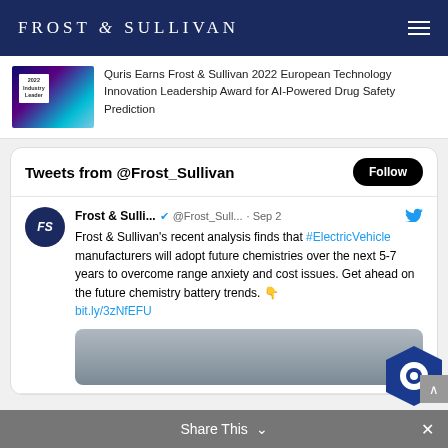FROST & SULLIVAN
Quris Earns Frost & Sullivan 2022 European Technology Innovation Leadership Award for AI-Powered Drug Safety Prediction
Tweets from @Frost_Sullivan
Frost & Sulli... @Frost_Sull... · Sep 2
Frost & Sullivan's recent analysis finds that #ElectricVehicle manufacturers will adopt future chemistries over the next 5-7 years to overcome range anxiety and cost issues. Get ahead on the future chemistry battery trends. 👇
bit.ly/3zNfEFU
Share This